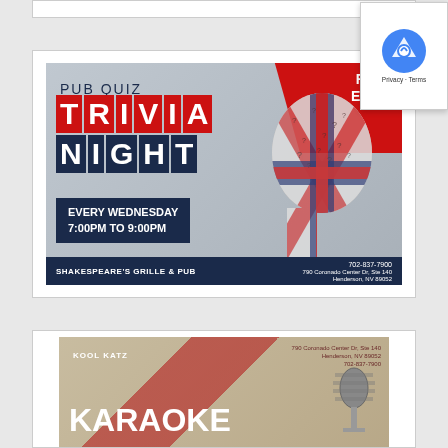[Figure (illustration): Pub Quiz Trivia Night advertisement for Shakespeare's Grille & Pub. Shows 'FREE ENTRY' banner in red top-right corner, 'PUB QUIZ' text, large 'TRIVIA NIGHT' title in red and navy blocks, 'EVERY WEDNESDAY 7:00PM TO 9:00PM' schedule box, silhouette of head with question marks, British flag motif, footer bar with 'SHAKESPEARE'S GRILLE & PUB  702-837-7900  790 Coronado Center Dr, Ste 140, Henderson, NV 89052']
[Figure (illustration): Kool Katz Karaoke advertisement (partially visible at bottom). Shows vintage/retro style design with red cross/stripe motif, 'KOOL KATZ' and 'KARAOKE' text, microphone image, address details.]